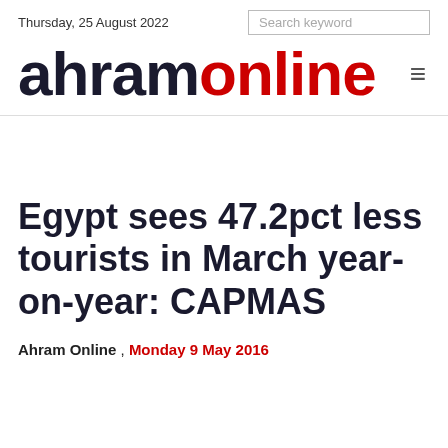Thursday, 25 August 2022   Search keyword
[Figure (logo): Ahram Online logo — 'ahram' in dark navy bold, 'online' in red bold, large serif-weight sans-serif logotype]
Egypt sees 47.2pct less tourists in March year-on-year: CAPMAS
Ahram Online , Monday 9 May 2016